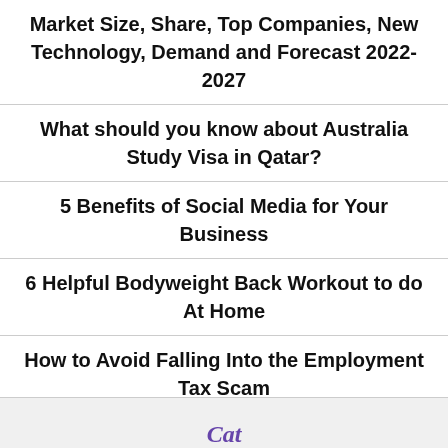Market Size, Share, Top Companies, New Technology, Demand and Forecast 2022-2027
What should you know about Australia Study Visa in Qatar?
5 Benefits of Social Media for Your Business
6 Helpful Bodyweight Back Workout to do At Home
How to Avoid Falling Into the Employment Tax Scam